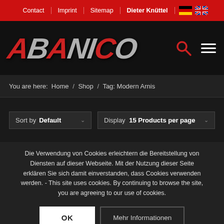Contact | Imprint | Sitemap | Dieter Knüttel
[Figure (logo): ABANICO logo in large italic metallic grey text with red accents on black background, with search icon and hamburger menu]
You are here: Home / Shop / Tag: Modern Arnis
Sort by Default  Display 15 Products per page
Die Verwendung von Cookies erleichtern die Bereitstellung von Diensten auf dieser Webseite. Mit der Nutzung dieser Seite erklären Sie sich damit einverstanden, dass Cookies verwenden werden. - This site uses cookies. By continuing to browse the site, you are agreeing to our use of cookies.
OK   Mehr Informationen